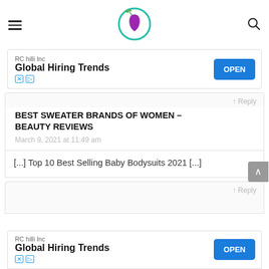Navigation bar with hamburger menu, logo, and search icon
[Figure (logo): Beauty/lifestyle website logo: teal circle with purple face silhouette and green leaf]
[Figure (infographic): Advertisement banner: RC hilli Inc - Global Hiring Trends - OPEN button]
↑ Reply
BEST SWEATER BRANDS OF WOMEN – BEAUTY REVIEWS
March 9, 2021 at 11:49 am
[...] Top 10 Best Selling Baby Bodysuits 2021 [...]
↑ Reply
[Figure (infographic): Advertisement banner at bottom: RC hilli Inc - Global Hiring Trends - OPEN button]